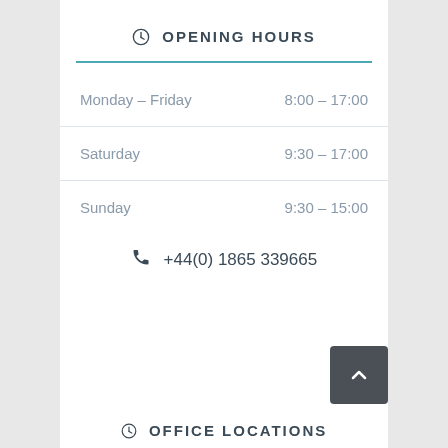OPENING HOURS
| Day | Hours |
| --- | --- |
| Monday – Friday | 8:00 – 17:00 |
| Saturday | 9:30 – 17:00 |
| Sunday | 9:30 – 15:00 |
+44(0) 1865 339665
OFFICE LOCATIONS